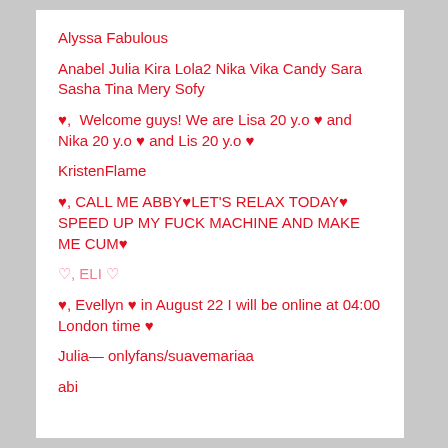Alyssa Fabulous
Anabel Julia Kira Lola2 Nika Vika Candy Sara Sasha Tina Mery Sofy
♥,  Welcome guys! We are Lisa 20 y.o ♥ and Nika 20 y.o ♥ and Lis 20 y.o ♥
KristenFlame
♥, CALL ME ABBY♥LET'S RELAX TODAY♥ SPEED UP MY FUCK MACHINE AND MAKE ME CUM♥
♡, ELI ♡
♥, Evellyn ♥ in August 22 I will be online at 04:00 London time ♥
Julia— onlyfans/suavemariaa
abi